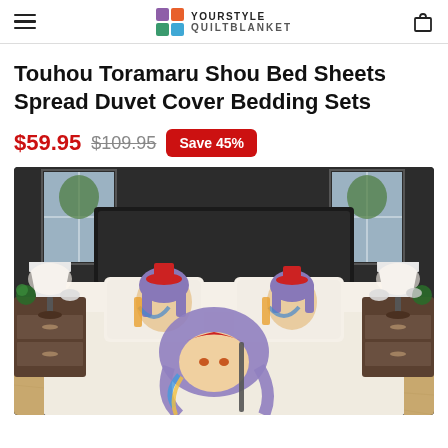YOURSTYLE QUILTBLANKET
Touhou Toramaru Shou Bed Sheets Spread Duvet Cover Bedding Sets
$59.95  $109.95  Save 45%
[Figure (photo): Product photo of anime-themed bedding set (Touhou Toramaru Shou) displayed on a bed with dark headboard, two nightstands with lamps, in a bedroom setting. The bedding features an anime character with purple hair, red hat, and colorful clothing.]